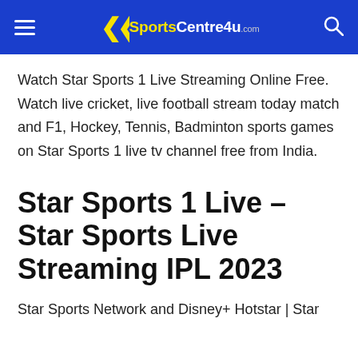SportsCentre4u.com
Watch Star Sports 1 Live Streaming Online Free. Watch live cricket, live football stream today match and F1, Hockey, Tennis, Badminton sports games on Star Sports 1 live tv channel free from India.
Star Sports 1 Live – Star Sports Live Streaming IPL 2023
Star Sports Network and Disney+ Hotstar | Star